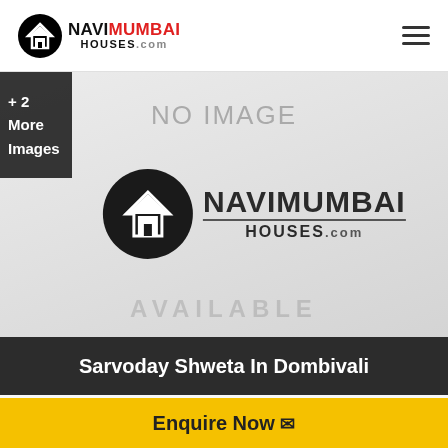[Figure (logo): NaviMumbaiHouses.com logo in header with house icon in black circle]
[Figure (photo): No Image placeholder with NaviMumbaiHouses.com watermark logo and AVAILABLE text watermark, plus +2 More Images badge on left]
Sarvoday Shweta In Dombivali
RERA REGISTRED
Enquire Now